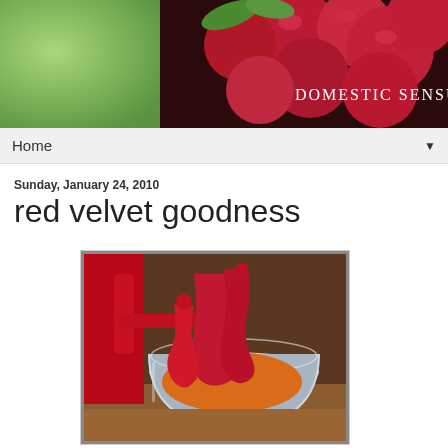[Figure (photo): Header banner photo of red fruits/plums with green leaves. Text overlay reads 'DOMESTIC SENSUALIST' in white serif font on the right side.]
Home ▼
Sunday, January 24, 2010
red velvet goodness
[Figure (photo): Photo of a red KitchenAid stand mixer beating red-colored batter in a stainless steel mixing bowl.]